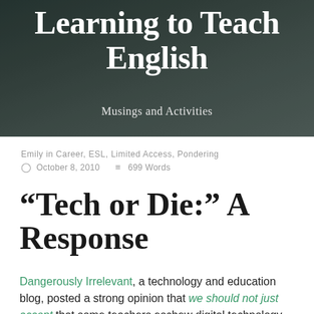[Figure (photo): Dark background header image showing chalk pieces on a chalkboard surface, with white and blue chalk visible]
Learning to Teach English
Musings and Activities
Emily in Career, ESL, Limited Access, Pondering
October 8, 2010   699 Words
“Tech or Die:” A Response
Dangerously Irrelevant, a technology and education blog, posted a strong opinion that we should not just accept that some teachers eschew digital technology because they are either oblivious to it or choose not to use it.